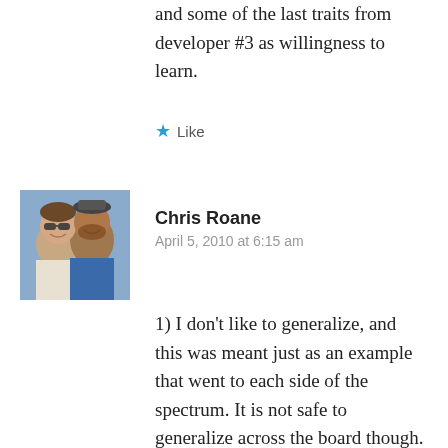and some of the last traits from developer #3 as willingness to learn.
★ Like
[Figure (photo): Avatar photo of two people smiling, a woman with sunglasses and a man with a beard wearing a blue shirt]
Chris Roane
April 5, 2010 at 6:15 am
1) I don't like to generalize, and this was meant just as an example that went to each side of the spectrum. It is not safe to generalize across the board though. You have to look at each individual case.
2) I agree, that drive/ambition should have made the list. Bei...